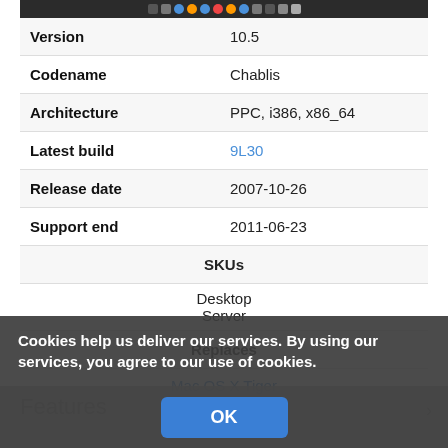[Figure (screenshot): Mac OS X dock/taskbar screenshot strip at top of page]
| Field | Value |
| --- | --- |
| Version | 10.5 |
| Codename | Chablis |
| Architecture | PPC, i386, x86_64 |
| Latest build | 9L30 |
| Release date | 2007-10-26 |
| Support end | 2011-06-23 |
| SKUs | Desktop
Server |
| Replaces | Mac OS X Tiger |
| Replaced by | Mac OS X Snow Leopard |
Cookies help us deliver our services. By using our services, you agree to our use of cookies.
OK
Features